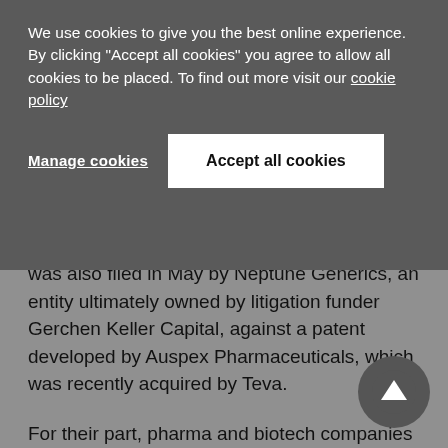We use cookies to give you the best online experience. By clicking "Accept all cookies" you agree to allow all cookies to be placed. To find out more visit our cookie policy
Manage cookies
Accept all cookies
was also filed in May by Neptune Generics, an entity ultimately owned by litigation funder Gerchen Keller Capital, against a patent developed by Auspex Pharmaceuticals, which was recently acquired by Teva.
For their part, pharma and biotech companies have lambasted the Bass/Spangenberg strategy. "Predatory hedge funds are short-selling the stock of